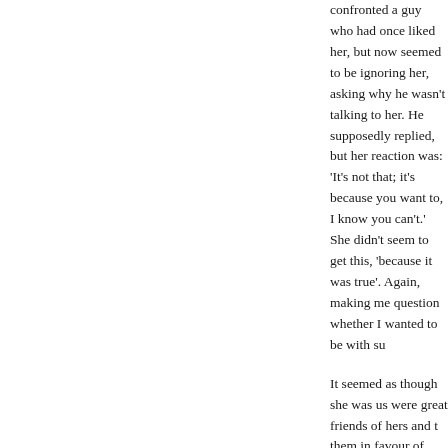confronted a guy who had once liked her, but now seemed to be ignoring her, asking why he wasn't talking to her. He supposedly replied, but her reaction was: 'It's not that; it's because you want to, I know you can't.' She didn't seem to get this, 'because it was true'. Again, making me question whether I wanted to be with su...
It seemed as though she was using people who were great friends of hers and then dropping them in favour of someone else, and so on and on. It didn't seem to bother her that friends were coming and going; it was their problem, not her. She couldn't keep friends around her because of how she treated them as things that were there to satisfy her needs. Once they disappeared, there was always someone new to take their place. Sometimes she was genuinely unaware that someone was being hostile towards her, I didn't know.
The arguing between us contin...